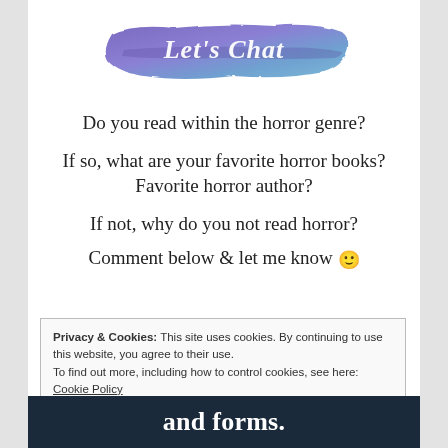[Figure (illustration): A watercolor-style purple/blue brushstroke banner with the text 'Let's Chat' written in white italic/script font on top.]
Do you read within the horror genre?
If so, what are your favorite horror books? Favorite horror author?
If not, why do you not read horror?
Comment below & let me know 🙂
Privacy & Cookies: This site uses cookies. By continuing to use this website, you agree to their use.
To find out more, including how to control cookies, see here: Cookie Policy
Close and accept
and forms.